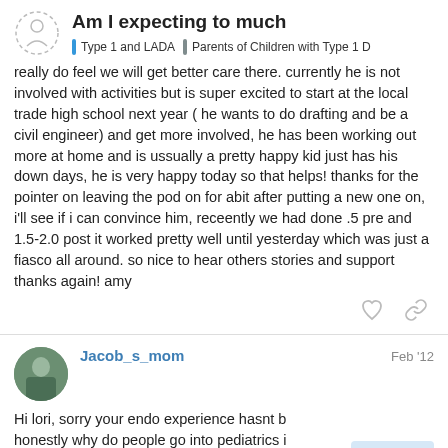Am I expecting to much | Type 1 and LADA | Parents of Children with Type 1 D
really do feel we will get better care there. currently he is not involved with activities but is super excited to start at the local trade high school next year ( he wants to do drafting and be a civil engineer) and get more involved, he has been working out more at home and is ussually a pretty happy kid just has his down days, he is very happy today so that helps! thanks for the pointer on leaving the pod on for abit after putting a new one on, i'll see if i can convince him, receently we had done .5 pre and 1.5-2.0 post it worked pretty well until yesterday which was just a fiasco all around. so nice to hear others stories and support thanks again! amy
Jacob_s_mom  Feb '12
Hi lori, sorry your endo experience hasnt b honestly why do people go into pediatrics i